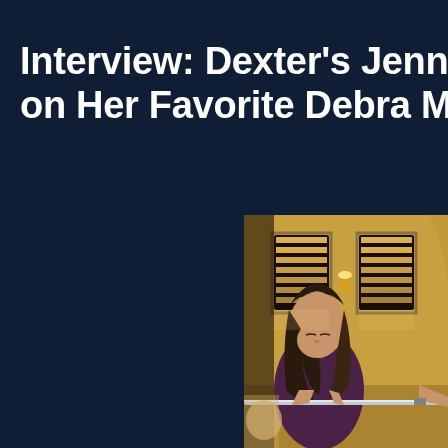Interview: Dexter's Jennifer Carpenter on Her Favorite Debra M...
[Figure (photo): A young woman with dark brown shoulder-length hair wearing a dark purple t-shirt, looking down while holding a metallic pole/bar. She is standing in a warmly lit room with yellow walls and windows with shutters in the background. Another person's arm is visible at the right extending toward her.]